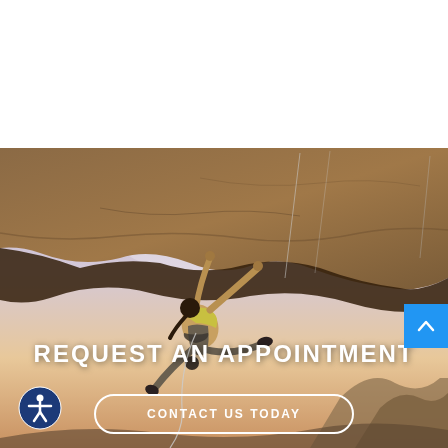[Figure (photo): A rock climber (woman) hanging from an overhanging cliff/rock face, gripping holds overhead, wearing a yellow top and grey pants, with climbing gear. Sky with clouds and warm sunset tones in background.]
REQUEST AN APPOINTMENT
CONTACT US TODAY